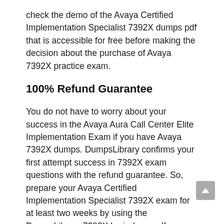check the demo of the Avaya Certified Implementation Specialist 7392X dumps pdf that is accessible for free before making the decision about the purchase of Avaya 7392X practice exam.
100% Refund Guarantee
You do not have to worry about your success in the Avaya Aura Call Center Elite Implementation Exam if you have Avaya 7392X dumps. DumpsLibrary confirms your first attempt success in 7392X exam questions with the refund guarantee. So, prepare your Avaya Certified Implementation Specialist 7392X exam for at least two weeks by using the DumpsLibrary 7392X braindumps. If you could not get satisfied in the Avaya 7392X pdf at your initial try, then you can ask for your refund of